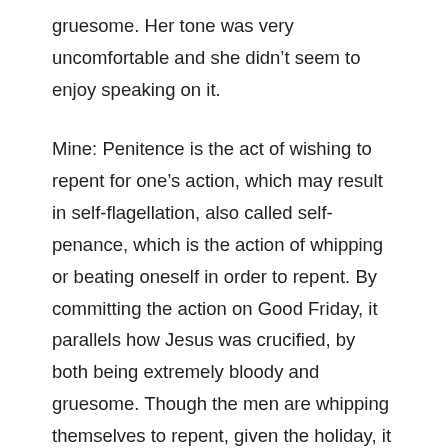gruesome. Her tone was very uncomfortable and she didn't seem to enjoy speaking on it.
Mine: Penitence is the act of wishing to repent for one's action, which may result in self-flagellation, also called self-penance, which is the action of whipping or beating oneself in order to repent. By committing the action on Good Friday, it parallels how Jesus was crucified, by both being extremely bloody and gruesome. Though the men are whipping themselves to repent, given the holiday, it also seems that they are trying to inflict pain on themself in order to take the pain away from Jesus, though he lived a long time ago. It seems to state that since Jesus suffered on Good Friday, everyone should have to suffer alongside him. In this bloody way, a covenant is formed with Jesus, that they will be together. Also, it forms a strong bond with the other men who are committing self-flagellation because they